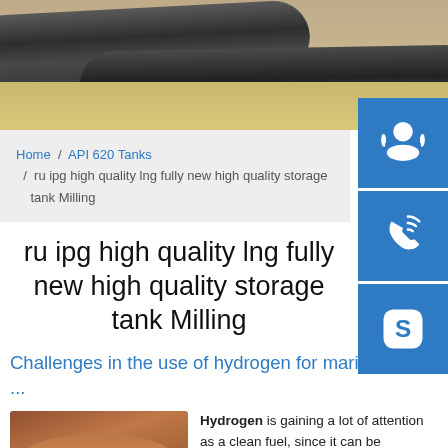[Figure (photo): Hero image showing large black industrial pipes partially buried in sand/soil]
Home / API 620 Tanks / ru ipg high quality lng fully new high quality storage tank Milling
ru ipg high quality lng fully new high quality storage tank Milling
Challenges in the use of hydrogen for maritime ...
[Figure (photo): Round metal storage tank with rust-colored surface]
Hydrogen is gaining a lot of attention as a clean fuel, since it can be generated from renewables ...